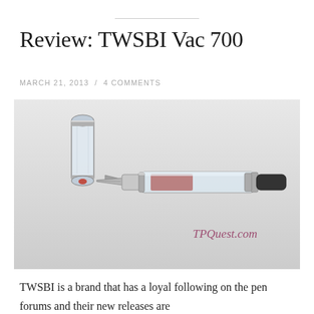Review: TWSBI Vac 700
MARCH 21, 2013 / 4 COMMENTS
[Figure (photo): TWSBI Vac 700 fountain pen uncapped, lying diagonally with cap beside it on a light grey surface. The pen has a clear transparent barrel with visible red ink inside, metal grip section, and black end cap. The nib is visible pointing to the lower left. A watermark reading 'TPQuest.com' appears in the lower right area of the image.]
TWSBI is a brand that has a loyal following on the pen forums and their new releases are